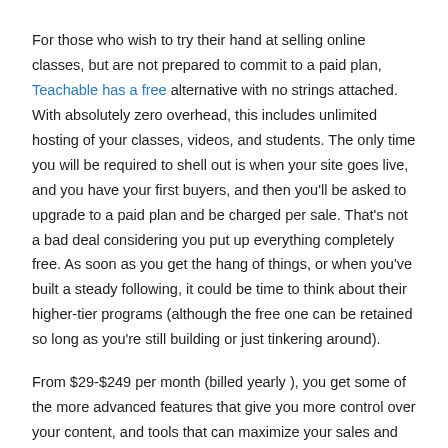For those who wish to try their hand at selling online classes, but are not prepared to commit to a paid plan, Teachable has a free alternative with no strings attached. With absolutely zero overhead, this includes unlimited hosting of your classes, videos, and students. The only time you will be required to shell out is when your site goes live, and you have your first buyers, and then you'll be asked to upgrade to a paid plan and be charged per sale. That's not a bad deal considering you put up everything completely free. As soon as you get the hang of things, or when you've built a steady following, it could be time to think about their higher-tier programs (although the free one can be retained so long as you're still building or just tinkering around).
From $29-$249 per month (billed yearly ), you get some of the more advanced features that give you more control over your content, and tools that can maximize your sales and advertising. With the two top tiers, the prices are a flat rate, and the transaction